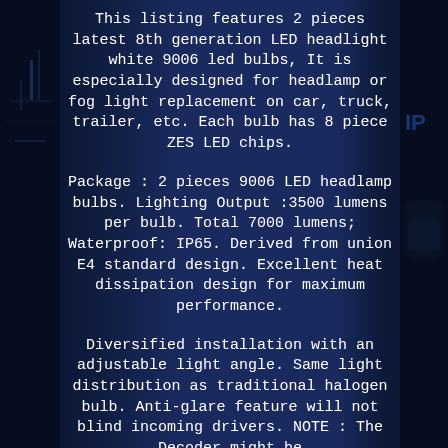This listing features 2 pieces latest 8th generation LED headlight white 9006 led bulbs, It is especially designed for headlamp or fog light replacement on car, truck, trailer, etc. Each bulb has 8 piece ZES LED chips.
Package : 2 pieces 9006 LED headlamp bulbs. Lighting Output :3500 lumens per bulb. Total 7000 lumens; Waterproof: IP65. Derived from union E4 standard design. Excellent heat dissipation design for maximum performance.
Diversified installation with an adjustable light angle. Same light distribution as traditional halogen bulb. Anti-glare feature will not blind incoming drivers. NOTE : The Decoder might be